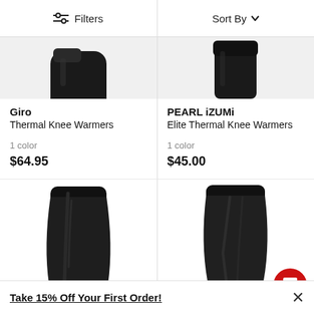Filters | Sort By
[Figure (photo): Partial view of a black Giro Thermal Knee Warmer product photo (top cropped)]
Giro
Thermal Knee Warmers
1 color
$64.95
[Figure (photo): Partial view of a black PEARL iZUMi Elite Thermal Knee Warmer product photo (top cropped)]
PEARL iZUMi
Elite Thermal Knee Warmers
1 color
$45.00
[Figure (photo): Black cycling knee warmer product image, left panel]
[Figure (photo): Black cycling knee warmer product image, right panel]
Take 15% Off Your First Order!